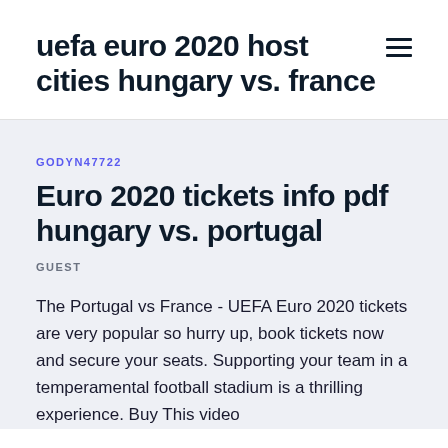uefa euro 2020 host cities hungary vs. france
GODYN47722
Euro 2020 tickets info pdf hungary vs. portugal
GUEST
The Portugal vs France - UEFA Euro 2020 tickets are very popular so hurry up, book tickets now and secure your seats. Supporting your team in a temperamental football stadium is a thrilling experience. Buy This video